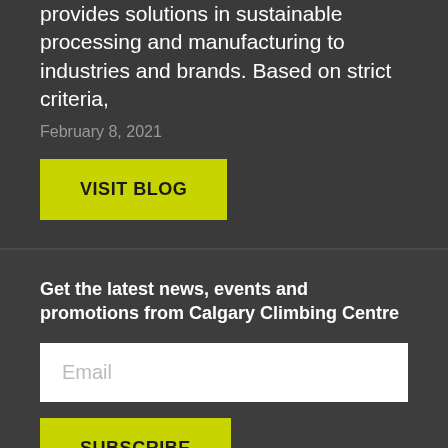provides solutions in sustainable processing and manufacturing to industries and brands. Based on strict criteria,
February 8, 2021
VISIT BLOG
Get the latest news, events and promotions from Calgary Climbing Centre
Email
SUBSCRIBE